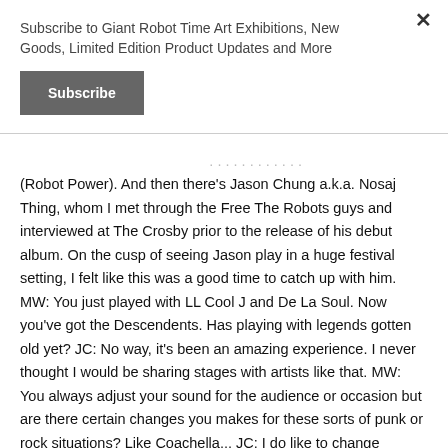Subscribe to Giant Robot Time Art Exhibitions, New Goods, Limited Edition Product Updates and More
Subscribe
(Robot Power). And then there's Jason Chung a.k.a. Nosaj Thing, whom I met through the Free The Robots guys and interviewed at The Crosby prior to the release of his debut album. On the cusp of seeing Jason play in a huge festival setting, I felt like this was a good time to catch up with him. MW: You just played with LL Cool J and De La Soul. Now you've got the Descendents. Has playing with legends gotten old yet? JC: No way, it's been an amazing experience. I never thought I would be sharing stages with artists like that. MW: You always adjust your sound for the audience or occasion but are there certain changes you makes for these sorts of punk or rock situations? Like Coachella... JC: I do like to change